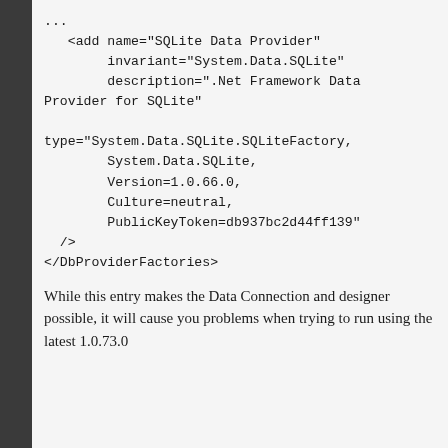...
  <add name="SQLite Data Provider"
       invariant="System.Data.SQLite"
       description=".Net Framework Data Provider for SQLite"

  type="System.Data.SQLite.SQLiteFactory, System.Data.SQLite, Version=1.0.66.0, Culture=neutral, PublicKeyToken=db937bc2d44ff139"
  />
</DbProviderFactories>
While this entry makes the Data Connection and designer possible, it will cause you problems when trying to run using the latest 1.0.73.0